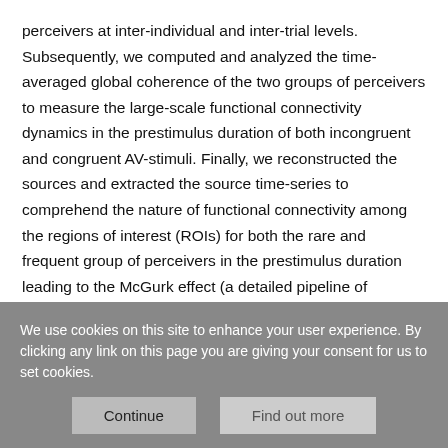perceivers at inter-individual and inter-trial levels. Subsequently, we computed and analyzed the time-averaged global coherence of the two groups of perceivers to measure the large-scale functional connectivity dynamics in the prestimulus duration of both incongruent and congruent AV-stimuli. Finally, we reconstructed the sources and extracted the source time-series to comprehend the nature of functional connectivity among the regions of interest (ROIs) for both the rare and frequent group of perceivers in the prestimulus duration leading to the McGurk effect (a detailed pipeline of different analysis employed is outlined in Figure 1). Based on the findings, this is one of the first studies that pinpoint the specific prestimulus neural differences in
We use cookies on this site to enhance your user experience. By clicking any link on this page you are giving your consent for us to set cookies.